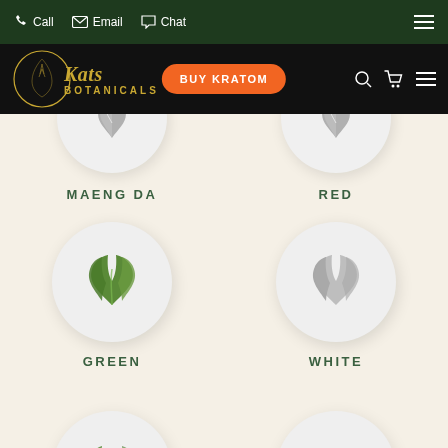Call  Email  Chat
[Figure (logo): Kats Botanicals logo with golden leaf circle emblem and BUY KRATOM button in navigation bar]
MAENG DA
RED
GREEN
WHITE